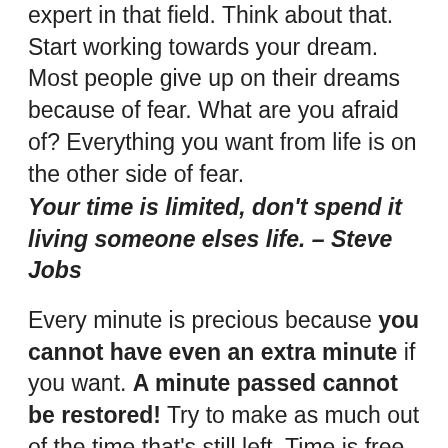expert in that field. Think about that. Start working towards your dream. Most people give up on their dreams because of fear. What are you afraid of? Everything you want from life is on the other side of fear.
Your time is limited, don't spend it living someone elses life. – Steve Jobs
Every minute is precious because you cannot have even an extra minute if you want. A minute passed cannot be restored! Try to make as much out of the time that's still left. Time is free of cost but it's limited and cannot be accumulated. You can always get more money but you can never get